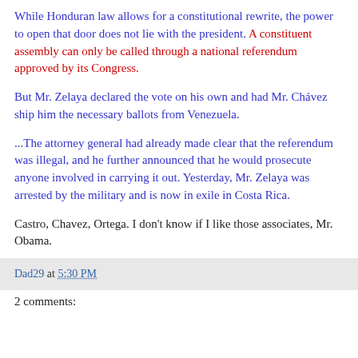While Honduran law allows for a constitutional rewrite, the power to open that door does not lie with the president. A constituent assembly can only be called through a national referendum approved by its Congress.
But Mr. Zelaya declared the vote on his own and had Mr. Chávez ship him the necessary ballots from Venezuela.
...The attorney general had already made clear that the referendum was illegal, and he further announced that he would prosecute anyone involved in carrying it out. Yesterday, Mr. Zelaya was arrested by the military and is now in exile in Costa Rica.
Castro, Chavez, Ortega. I don't know if I like those associates, Mr. Obama.
Dad29 at 5:30 PM
2 comments: